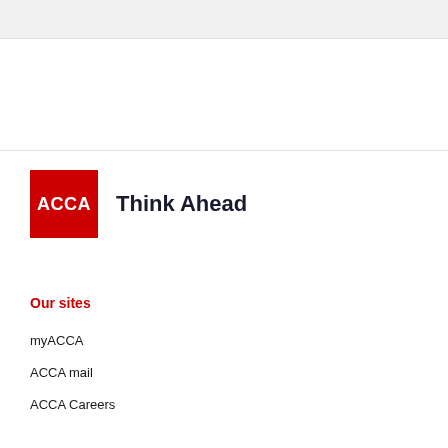[Figure (logo): ACCA red square logo with white ACCA text and Think Ahead tagline]
Our sites
myACCA
ACCA mail
ACCA Careers